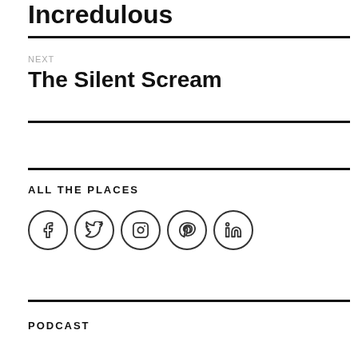Incredulous
NEXT
The Silent Scream
ALL THE PLACES
[Figure (infographic): Row of five social media icons in circles: Facebook, Twitter, Instagram, Pinterest, LinkedIn]
PODCAST